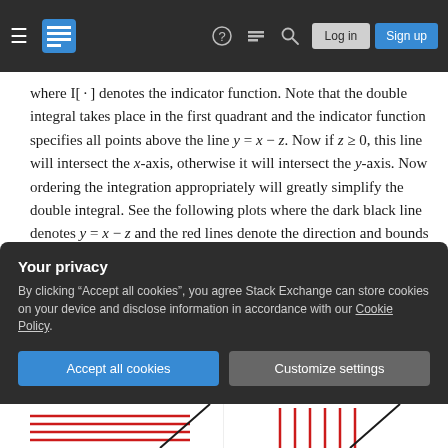Stack Exchange navigation bar
where I[·] denotes the indicator function. Note that the double integral takes place in the first quadrant and the indicator function specifies all points above the line y = x − z. Now if z ≥ 0, this line will intersect the x-axis, otherwise it will intersect the y-axis. Now ordering the integration appropriately will greatly simplify the double integral. See the following plots where the dark black line denotes y = x − z and the red lines denote the direction and bounds of integration (albeit not extended indefinitely).
Your privacy
By clicking "Accept all cookies", you agree Stack Exchange can store cookies on your device and disclose information in accordance with our Cookie Policy.
[Figure (illustration): Bottom strip showing partial plots with red diagonal lines and a slash mark on a white background]